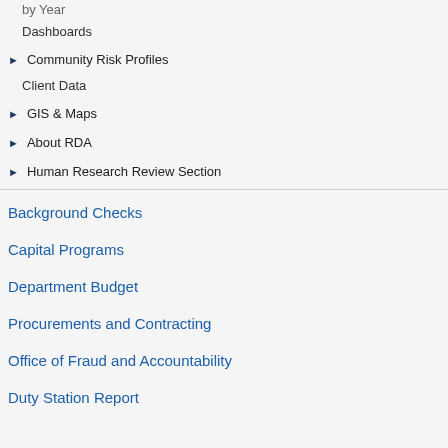by Year
Dashboards
Community Risk Profiles
Client Data
GIS & Maps
About RDA
Human Research Review Section
Background Checks
Capital Programs
Department Budget
Procurements and Contracting
Office of Fraud and Accountability
Duty Station Report